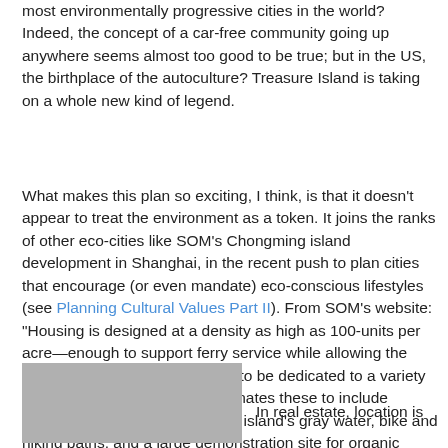most environmentally progressive cities in the world? Indeed, the concept of a car-free community going up anywhere seems almost too good to be true; but in the US, the birthplace of the autoculture? Treasure Island is taking on a whole new kind of legend.
What makes this plan so exciting, I think, is that it doesn't appear to treat the environment as a token. It joins the ranks of other eco-cities like SOM's Chongming island development in Shanghai, in the recent push to plan cities that encourage (or even mandate) eco-conscious lifestyles (see Planning Cultural Values Part II). From SOM's website: "Housing is designed at a density as high as 100-units per acre—enough to support ferry service while allowing the majority of the island's acreage to be dedicated to a variety of open spaces. The plan designates these to include wetlands capable of filtering the island's gray water, bike and hiking paths, and a large demonstration site for organic gardening." It's holistic eco-urbanism.
[Figure (photo): Gray/silver colored photograph placeholder image]
In real estate, location is